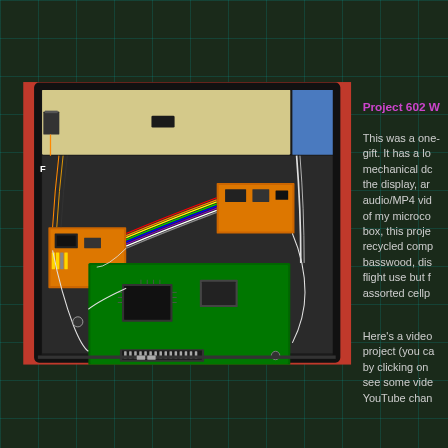[Figure (photo): Interior view of an electronics project box showing circuit boards, wiring, and components including a green PCB, orange circuit boards, rainbow ribbon cables, and various wires mounted inside a black-framed housing with a beige/cream panel at top. The box sits on a red surface.]
Project 602 W
This was a one- gift. It has a lo mechanical dc the display, ar audio/MP4 vid of my microco box, this proje recycled comp basswood, dis flight use but f assorted cellp
Here's a video project (you ca by clicking on see some vide YouTube chan